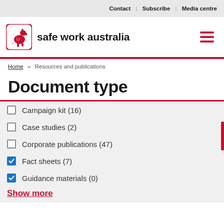Contact | Subscribe | Media centre
[Figure (logo): Safe Work Australia logo with kangaroo icon and text 'safe work australia']
Home » Resources and publications
Document type
Campaign kit (16) — unchecked
Case studies (2) — unchecked
Corporate publications (47) — unchecked
Fact sheets (7) — checked
Guidance materials (0) — checked
Show more